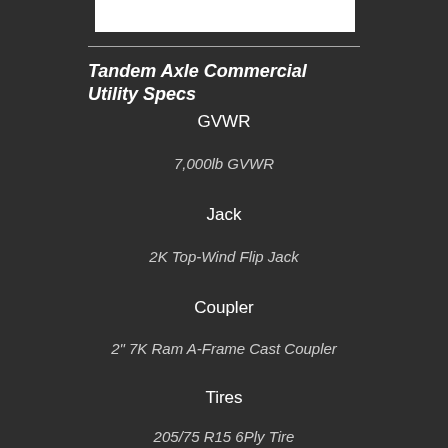[Figure (photo): White image/photo box at top]
Tandem Axle Commercial Utility Specs
GVWR
7,000lb GVWR
Jack
2K Top-Wind Flip Jack
Coupler
2" 7K Ram A-Frame Cast Coupler
Tires
205/75 R15 6Ply Tire